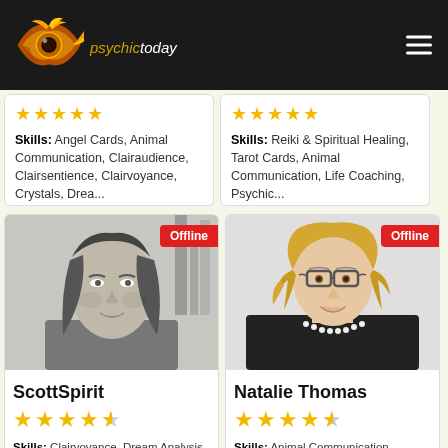[Figure (logo): Psychic Today logo - golden eye with flame and text 'psychictoday']
Skills: Angel Cards, Animal Communication, Clairaudience, Clairsentience, Clairvoyance, Crystals, Drea...
Skills: Reiki & Spiritual Healing, Tarot Cards, Animal Communication, Life Coaching, Psychic...
[Figure (photo): ScottSpirit - man with long hair, black and white photo, Offline badge]
ScottSpirit
Skills: Clairvoyance, Dream Analysis, Medium, Natural Psychic, Psychic Development, Remote Viewing, Tarot Cards
[Figure (photo): Natalie Thomas - woman with curly blonde hair, glasses, black top, pearl necklace, Offline badge]
Natalie Thomas
Skills: Animal Communication, Clairaudience, Clairsentience, Clairvoyance, Crystals, Drea...